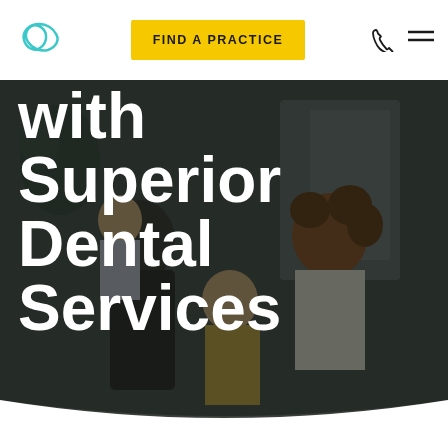[Figure (logo): Dental practice logo — teal/green abstract figure-eight or infinity-like loop shape]
FIND A PRACTICE
[Figure (illustration): Phone icon and hamburger menu icon in top right navigation]
[Figure (photo): Dark-overlay photo of a happy family — two adults and two children sitting together, smiling. Background is dark/dimmed.]
with Superior Dental Services